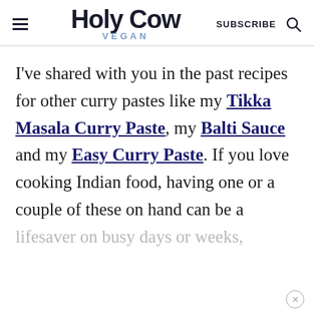Holy Cow Vegan — SUBSCRIBE
I've shared with you in the past recipes for other curry pastes like my Tikka Masala Curry Paste, my Balti Sauce and my Easy Curry Paste. If you love cooking Indian food, having one or a couple of these on hand can be a lifesaver on busy days or weeks,